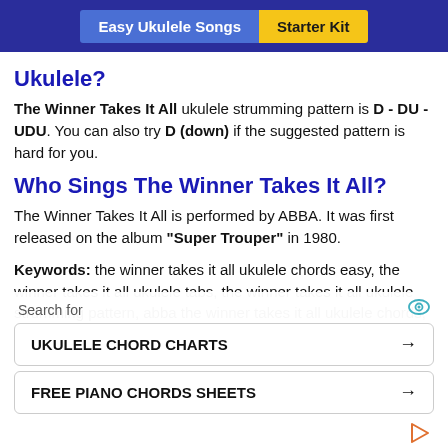Easy Ukulele Songs | Starter Kit
Ukulele?
The Winner Takes It All ukulele strumming pattern is D - DU - UDU. You can also try D (down) if the suggested pattern is hard for you.
Who Sings The Winner Takes It All?
The Winner Takes It All is performed by ABBA. It was first released on the album "Super Trouper" in 1980.
Keywords: the winner takes it all ukulele chords easy, the winner takes it all ukulele tabs, the winner takes it all ukulele strumming pattern, abba the winner takes it all ukulele chords, ukulele strumming pattern for the winner takes it all, abba the winner takes it all ukulele tabs, the winner takes it all acordes ukulele, abba the
Search for
UKULELE CHORD CHARTS →
FREE PIANO CHORDS SHEETS →